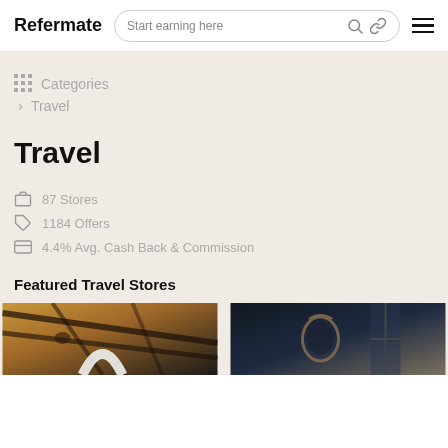Refermate — Start earning here
Categories
Travel
Travel
87 Stores
1184 Offers
4.4% Avg. Cash Back & Commission
Featured Travel Stores
[Figure (photo): Featured travel store image 1: interior with wooden ceiling and deer skull decor]
[Figure (photo): Featured travel store image 2: dark interior with ornate mirror]